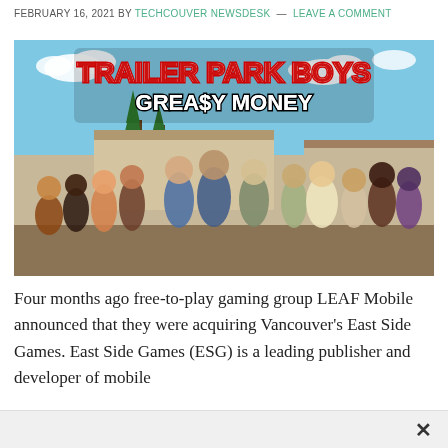FEBRUARY 16, 2021 BY TECHCOUVER NEWSDESK — LEAVE A COMMENT
[Figure (illustration): Trailer Park Boys: Greasy Money game promotional image showing animated characters from the show in front of a trailer park setting, with the game title displayed prominently at the top in bold red and white text.]
Four months ago free-to-play gaming group LEAF Mobile announced that they were acquiring Vancouver's East Side Games. East Side Games (ESG) is a leading publisher and developer of mobile